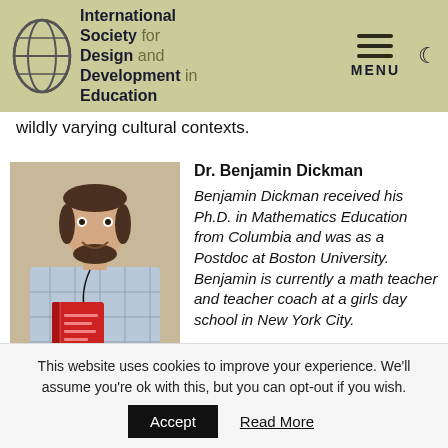International Society for Design and Development in Education | MENU
wildly varying cultural contexts.
Dr. Benjamin Dickman
Benjamin Dickman received his Ph.D. in Mathematics Education from Columbia and was as a Postdoc at Boston University. Benjamin is currently a math teacher and teacher coach at a girls day school in New York City.
[Figure (photo): Photo of Dr. Benjamin Dickman holding a red book, smiling, wearing a plaid shirt and lanyard]
This website uses cookies to improve your experience. We'll assume you're ok with this, but you can opt-out if you wish.